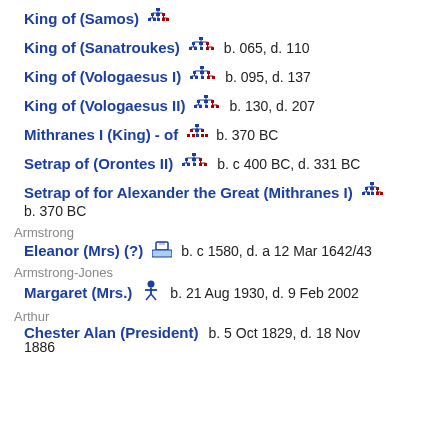King of (Samos)
King of (Sanatroukes)    b. 065, d. 110
King of (Vologaesus I)    b. 095, d. 137
King of (Vologaesus II)    b. 130, d. 207
Mithranes I (King) - of    b. 370 BC
Setrap of (Orontes II)    b. c 400 BC, d. 331 BC
Setrap of for Alexander the Great (Mithranes I)    b. 370 BC
Armstrong
Eleanor (Mrs) (?)    b. c 1580, d. a 12 Mar 1642/43
Armstrong-Jones
Margaret (Mrs.)    b. 21 Aug 1930, d. 9 Feb 2002
Arthur
Chester Alan (President)    b. 5 Oct 1829, d. 18 Nov 1886